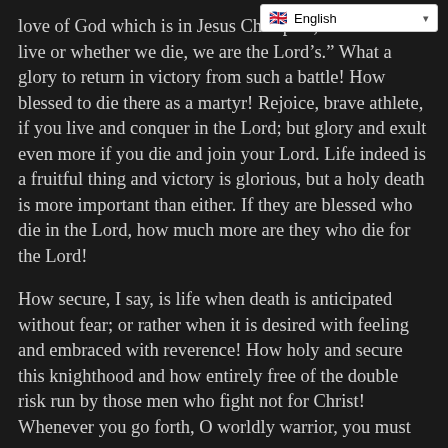love of God which is in Jesus Ch... repeat, “Whether we live or whether we die, we are the Lord’s.” What a glory to return in victory from such a battle! How blessed to die there as a martyr! Rejoice, brave athlete, if you live and conquer in the Lord; but glory and exult even more if you die and join your Lord. Life indeed is a fruitful thing and victory is glorious, but a holy death is more important than either. If they are blessed who die in the Lord, how much more are they who die for the Lord!
How secure, I say, is life when death is anticipated without fear; or rather when it is desired with feeling and embraced with reverence! How holy and secure this knighthood and how entirely free of the double risk run by those men who fight not for Christ! Whenever you go forth, O worldly warrior, you must